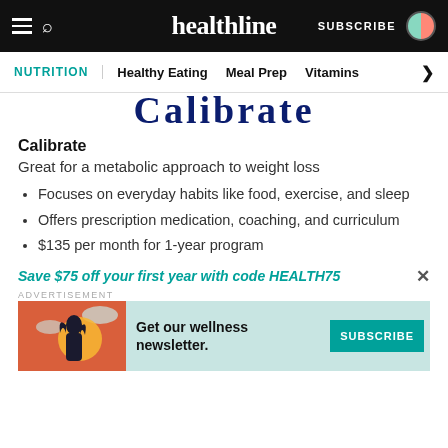healthline  SUBSCRIBE
NUTRITION  Healthy Eating  Meal Prep  Vitamins
[Figure (logo): Calibrate logo partial text, dark navy large serif font]
Calibrate
Great for a metabolic approach to weight loss
Focuses on everyday habits like food, exercise, and sleep
Offers prescription medication, coaching, and curriculum
$135 per month for 1-year program
Save $75 off your first year with code HEALTH75
ADVERTISEMENT
[Figure (illustration): Advertisement banner: teal background with illustrated woman figure on coral/orange background, text: Get our wellness newsletter. SUBSCRIBE button in teal.]